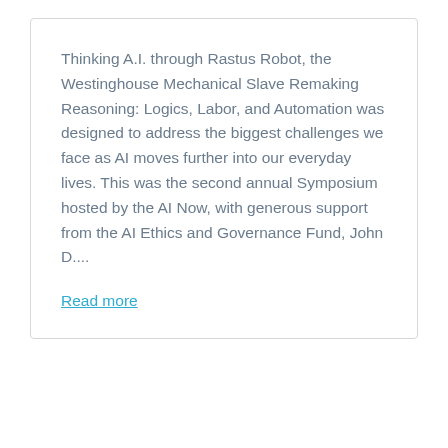Thinking A.I. through Rastus Robot, the Westinghouse Mechanical Slave Remaking Reasoning: Logics, Labor, and Automation was designed to address the biggest challenges we face as AI moves further into our everyday lives. This was the second annual Symposium hosted by the AI Now, with generous support from the AI Ethics and Governance Fund, John D....
Read more